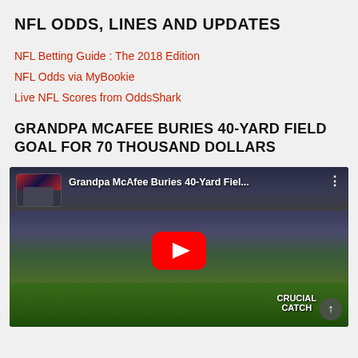NFL ODDS, LINES AND UPDATES
NFL Betting Guide : The 2018 Edition
NFL Odds via MyBookie
Live NFL Scores from OddsShark
GRANDPA MCAFEE BURIES 40-YARD FIELD GOAL FOR 70 THOUSAND DOLLARS
[Figure (screenshot): YouTube video thumbnail showing Grandpa McAfee Buries 40-Yard Fiel... with a play button overlay, showing people on an NFL field with Colts mascot and CRUCIAL CATCH signage]